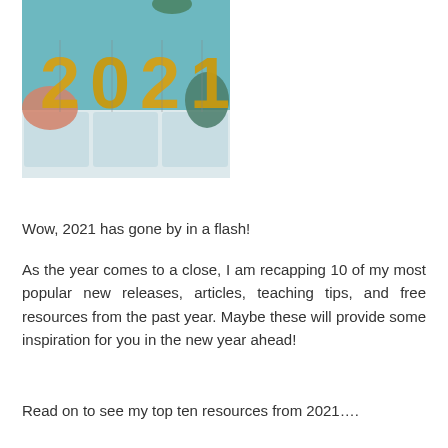[Figure (photo): Photo of golden '2021' balloon numbers resting on a white couch/sofa with pink and green cushions against a teal background]
Wow, 2021 has gone by in a flash!
As the year comes to a close, I am recapping 10 of my most popular new releases, articles, teaching tips, and free resources from the past year. Maybe these will provide some inspiration for you in the new year ahead!
Read on to see my top ten resources from 2021….